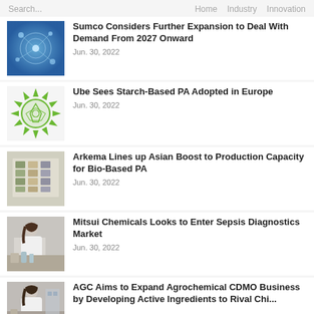Search...   Home   Industry   Innovation
[Figure (photo): Blue circuit/network technology background image]
Sumco Considers Further Expansion to Deal With Demand From 2027 Onward
Jun. 30, 2022
[Figure (logo): Green circular star-shaped logo with geometric design]
Ube Sees Starch-Based PA Adopted in Europe
Jun. 30, 2022
[Figure (photo): Photo of laboratory equipment/samples in tray]
Arkema Lines up Asian Boost to Production Capacity for Bio-Based PA
Jun. 30, 2022
[Figure (photo): Photo of scientist/researcher in lab coat working]
Mitsui Chemicals Looks to Enter Sepsis Diagnostics Market
Jun. 30, 2022
[Figure (photo): Photo of researcher in lab coat]
AGC Aims to Expand Agrochemical CDMO Business by Developing Active Ingredients to Rival Chi...